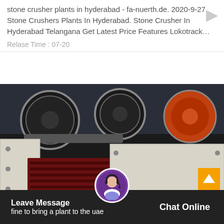stone crusher plants in hyderabad - fa-nuerth.de. 2020-9-27 Stone Crushers Plants In Hyderabad. Stone Crusher In Hyderabad Telangana Get Latest Price Features Lokotrack…
Relase Time : 07-20
[Figure (photo): Industrial stone crusher / vibrating screen machinery photographed in a factory setting. Large white metal frame with springs at base, red/dark body, black pulley wheels visible in background.]
Leave Message   fine to bring a plant to the uae
Chat Online